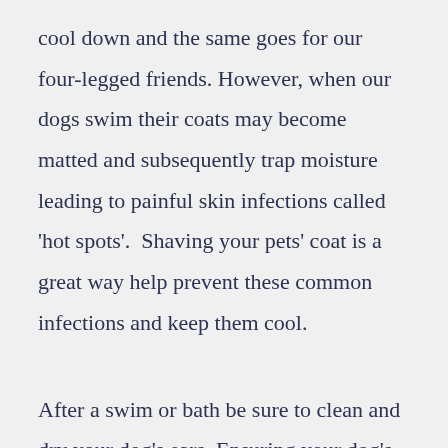cool down and the same goes for our four-legged friends. However, when our dogs swim their coats may become matted and subsequently trap moisture leading to painful skin infections called 'hot spots'.  Shaving your pets' coat is a great way help prevent these common infections and keep them cool.
After a swim or bath be sure to clean and dry your dog's ears. Ensuring your dog's ear canal is dry can prevent painful bacterial and yeast ear infections from developing. This can also help ensure they can hear you when you let them know their dinner is